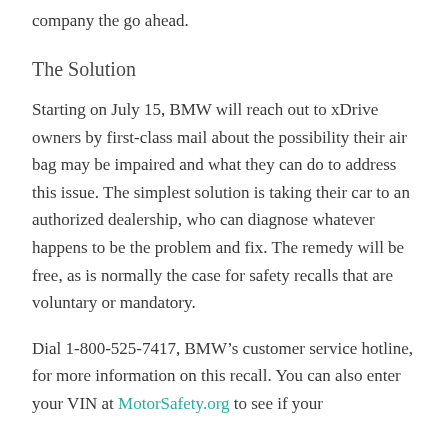company the go ahead.
The Solution
Starting on July 15, BMW will reach out to xDrive owners by first-class mail about the possibility their air bag may be impaired and what they can do to address this issue. The simplest solution is taking their car to an authorized dealership, who can diagnose whatever happens to be the problem and fix. The remedy will be free, as is normally the case for safety recalls that are voluntary or mandatory.
Dial 1-800-525-7417, BMW’s customer service hotline, for more information on this recall. You can also enter your VIN at MotorSafety.org to see if your